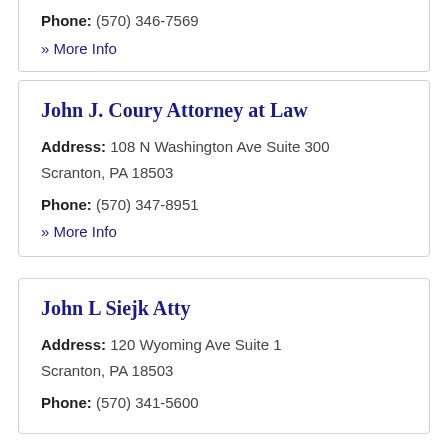Phone: (570) 346-7569
» More Info
John J. Coury Attorney at Law
Address: 108 N Washington Ave Suite 300 Scranton, PA 18503
Phone: (570) 347-8951
» More Info
John L Siejk Atty
Address: 120 Wyoming Ave Suite 1 Scranton, PA 18503
Phone: (570) 341-5600